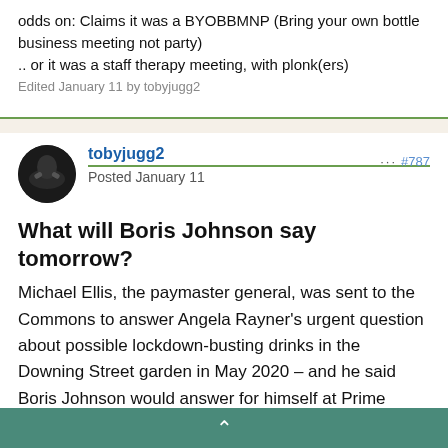odds on: Claims it was a BYOBBMNP (Bring your own bottle business meeting not party)
.. or it was a staff therapy meeting, with plonk(ers)
Edited January 11 by tobyjugg2
tobyjugg2
Posted January 11
#787
What will Boris Johnson say tomorrow?
Michael Ellis, the paymaster general, was sent to the Commons to answer Angela Rayner's urgent question about possible lockdown-busting drinks in the Downing Street garden in May 2020 – and he said Boris Johnson would answer for himself at Prime Minister's Questions tomorrow.